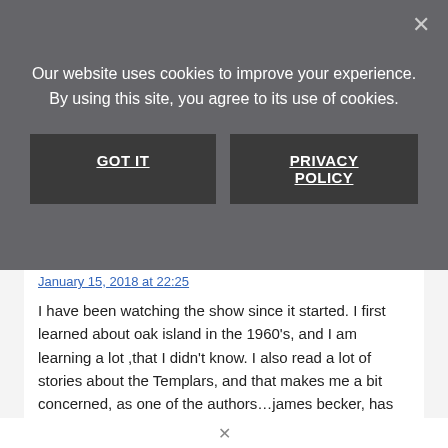Our website uses cookies to improve your experience. By using this site, you agree to its use of cookies.
GOT IT
PRIVACY POLICY
January 15, 2018 at 22:25
I have been watching the show since it started. I first learned about oak island in the 1960's, and I am learning a lot ,that I didn't know. I also read a lot of stories about the Templars, and that makes me a bit concerned, as one of the authors…james becker, has written some books about them. as they are fictional, some of parts of the stories are, from the author's mind, but a lot of parts of them are true. some of the authors I read do a lot of research so i'll just mention the parts the I want to